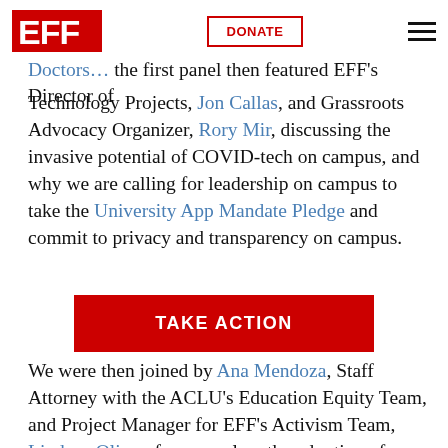EFF | DONATE
the COVID-19 pandemic with invasive technologies. After a discussion introducing Doctors... the first panel then featured EFF's Director of Technology Projects, Jon Callas, and Grassroots Advocacy Organizer, Rory Mir, discussing the invasive potential of COVID-tech on campus, and why we are calling for leadership on campus to take the University App Mandate Pledge and commit to privacy and transparency on campus.
[Figure (other): Red TAKE ACTION button]
We were then joined by Ana Mendoza, Staff Attorney with the ACLU's Education Equity Team, and Project Manager for EFF's Activism Team, Lindsay Oliver, for a panel on the adoption of online proctoring tools as colleges come to rely more on remote instruction. This panel not only discussed